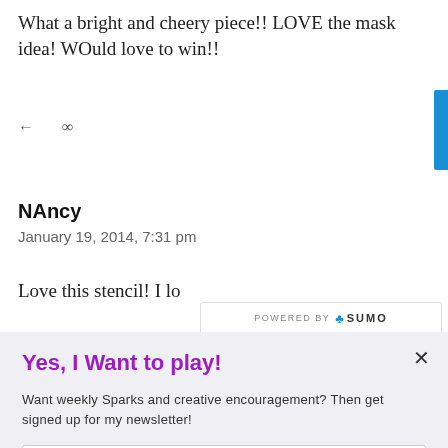What a bright and cheery piece!! LOVE the mask idea! WOuld love to win!!
← ∞
NAncy
January 19, 2014, 7:31 pm
Love this stencil! I lo… all colors of the
[Figure (screenshot): POWERED BY SUMO badge/bar overlaid on text]
Yes, I Want to play!
Want weekly Sparks and creative encouragement? Then get signed up for my newsletter!
Enter your Email
Send me the newsletter!
Yes, I would like you to send me a newsletter.